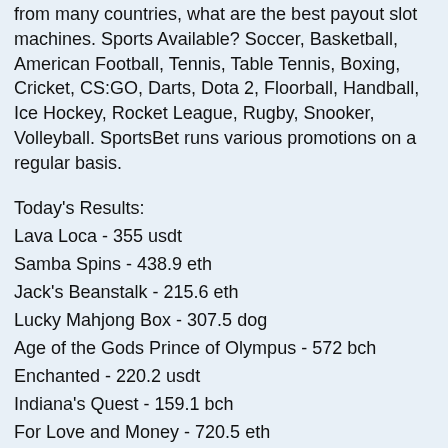from many countries, what are the best payout slot machines. Sports Available? Soccer, Basketball, American Football, Tennis, Table Tennis, Boxing, Cricket, CS:GO, Darts, Dota 2, Floorball, Handball, Ice Hockey, Rocket League, Rugby, Snooker, Volleyball. SportsBet runs various promotions on a regular basis.
Today's Results:
Lava Loca - 355 usdt
Samba Spins - 438.9 eth
Jack's Beanstalk - 215.6 eth
Lucky Mahjong Box - 307.5 dog
Age of the Gods Prince of Olympus - 572 bch
Enchanted - 220.2 usdt
Indiana's Quest - 159.1 bch
For Love and Money - 720.5 eth
Gold Trophy 2 - 269.3 dog
Disc of Athena - 581.2 usdt
Arcade - 625.7 bch